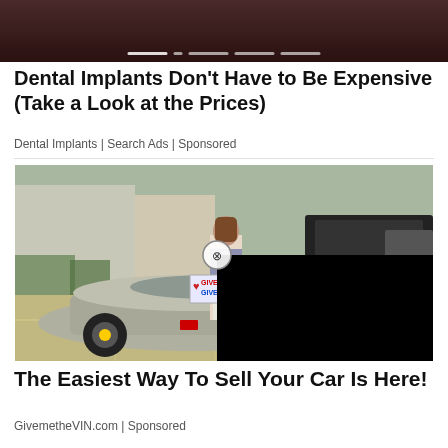[Figure (photo): Partial top image, dark background showing a close-up photo with slider dots at bottom]
Dental Implants Don't Have to Be Expensive (Take a Look at the Prices)
Dental Implants | Search Ads | Sponsored
[Figure (photo): Woman in patterned shirt and white pants standing next to a silver Ferrari in a parking lot, holding a sign reading 'GivemetheVIN.com'. A black overlay box covers the bottom-right portion of the image, and a close/X button appears at the edge.]
The Easiest Way To Sell Your Car Is Here!
GivemetheVIN.com | Sponsored